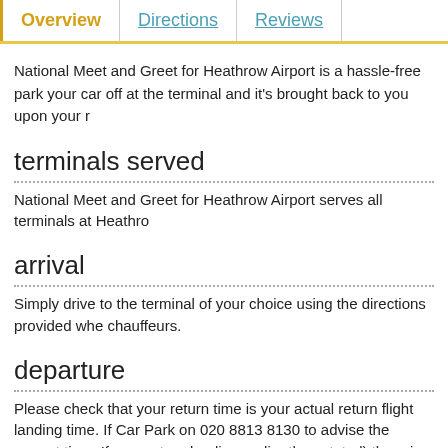Overview | Directions | Reviews
National Meet and Greet for Heathrow Airport is a hassle-free park your car off at the terminal and it's brought back to you upon your r
terminals served
National Meet and Greet for Heathrow Airport serves all terminals at Heathro
arrival
Simply drive to the terminal of your choice using the directions provided whe chauffeurs.
departure
Please check that your return time is your actual return flight landing time. If Car Park on 020 8813 8130 to advise the correct time. If your return landing earlier than stated) there is a possibility it may result in a delay. Further detai provided by your chauffeur when you drop your vehicle off.
location